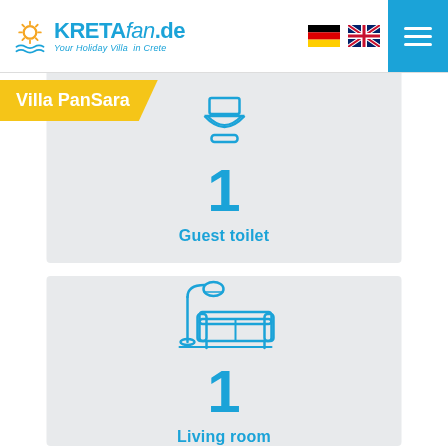KRETAfan.de — Your Holiday Villa in Crete
Villa PanSara
[Figure (infographic): Icon of a guest toilet (toilet fixture icon) with number 1 and label 'Guest toilet' on a grey background card]
[Figure (infographic): Icon of a living room (floor lamp and sofa/couch icon) with number 1 and label 'Living room' on a grey background card]